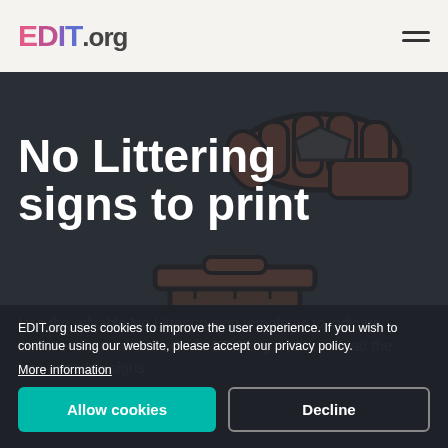EDIT.org
[Figure (illustration): Dark themed illustration of a hand dropping trash into a waste bin, depicted as a line art icon with brown/dark tones]
No Littering signs to print
Use the editable No Littering sign templates to indicate the use of a trash can. Go to EDIT.org and download the free printable signs.
EDIT.org uses cookies to improve the user experience. If you wish to continue using our website, please accept our privacy policy.
More information
Allow cookies
Decline